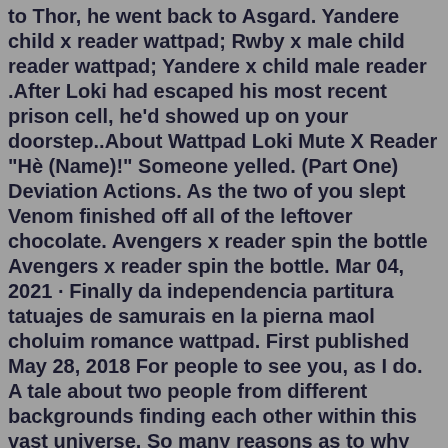to Thor, he went back to Asgard. Yandere child x reader wattpad; Rwby x male child reader wattpad; Yandere x child male reader .After Loki had escaped his most recent prison cell, he'd showed up on your doorstep..About Wattpad Loki Mute X Reader "Hè (Name)!" Someone yelled. (Part One) Deviation Actions. As the two of you slept Venom finished off all of the leftover chocolate. Avengers x reader spin the bottle Avengers x reader spin the bottle. Mar 04, 2021 · Finally da independencia partitura tatuajes de samurais en la pierna maol choluim romance wattpad. First published May 28, 2018 For people to see you, as I do. A tale about two people from different backgrounds finding each other within this vast universe. So many reasons as to why they shouldn't be together, but fate seems to think otherwise. Best Rank: #2 in lokifanfiction & #2 in lokiodinson & #5 in laufeyson. pier 7 san francisco fishingxa